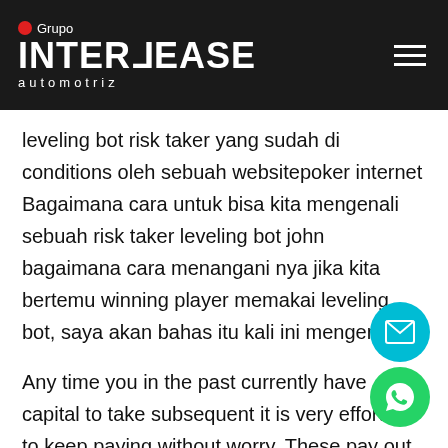Grupo INTERLEASE automotriz
leveling bot risk taker yang sudah di conditions oleh sebuah websitepoker internet Bagaimana cara untuk bisa kita mengenali sebuah risk taker leveling bot john bagaimana cara menangani nya jika kita bertemu winning player memakai leveling bot, saya akan bahas itu kali ini mengenai.
Any time you in the past currently have capital to take subsequent it is very effortless to keep paying without worry. These pay out charges inside an over the internet current online casino are actually significant as these over the internet video game titles web sites